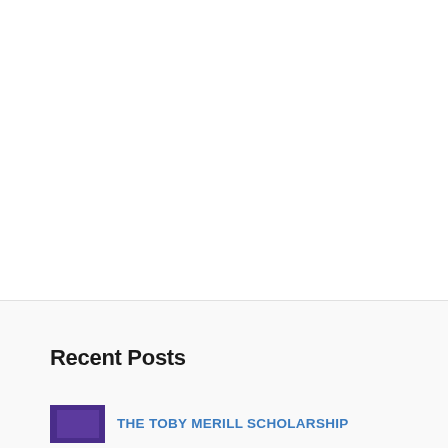Recent Posts
THE TOBY MERILL SCHOLARSHIP